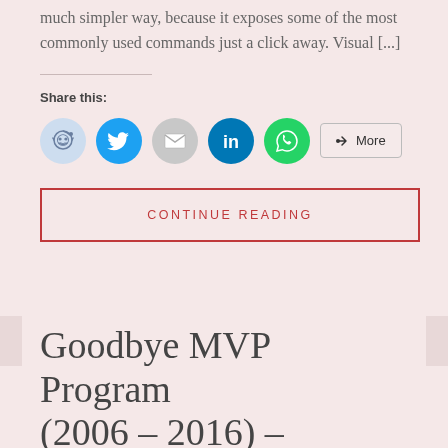much simpler way, because it exposes some of the most commonly used commands just a click away. Visual [...]
Share this:
[Figure (infographic): Social share icons: Reddit, Twitter, Email, LinkedIn, WhatsApp, and a More button]
CONTINUE READING
Goodbye MVP Program (2006 – 2016) –